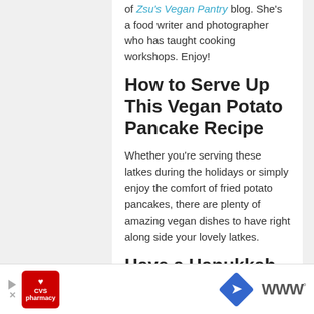of Zsu's Vegan Pantry blog. She's a food writer and photographer who has taught cooking workshops. Enjoy!
How to Serve Up This Vegan Potato Pancake Recipe
Whether you're serving these latkes during the holidays or simply enjoy the comfort of fried potato pancakes, there are plenty of amazing vegan dishes to have right along side your lovely latkes.
Have a Hanukkah Feast
If you're preparing these aquafaba latkes for Hanukkah and need some ideas for what to serve alongside them. check out our Ate Nights
[Figure (other): CVS Pharmacy advertisement banner at bottom of page]